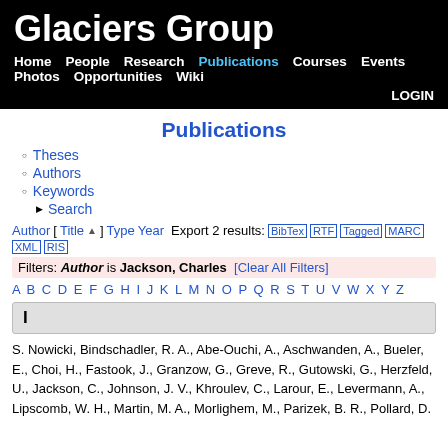Glaciers Group
Home   People   Research   Publications   Courses   Events   Photos   Opportunities   Wiki   LOGIN
Publications
Theses
Authors
Keywords
Search
Author [ Title ] Type Year  Export 2 results:  BibTex RTF Tagged MARC XML RIS
Filters: Author is Jackson, Charles  [Clear All Filters]
A B C D E F G H I J K L M N O P Q R S T U V W X Y Z
I
S. Nowicki, Bindschadler, R. A., Abe-Ouchi, A., Aschwanden, A., Bueler, E., Choi, H., Fastook, J., Granzow, G., Greve, R., Gutowski, G., Herzfeld, U., Jackson, C., Johnson, J. V., Khroulev, C., Larour, E., Levermann, A., Lipscomb, W. H., Martin, M. A., Morlighem, M., Parizek, B. R., Pollard, D.